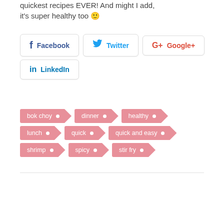quickest recipes EVER! And might I add, it's super healthy too 🙂
Facebook
Twitter
Google+
LinkedIn
bok choy
dinner
healthy
lunch
quick
quick and easy
shrimp
spicy
stir fry